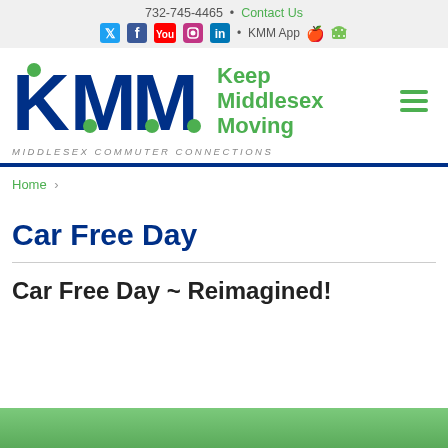732-745-4465 • Contact Us
Social icons: Twitter, Facebook, YouTube, Instagram, LinkedIn • KMM App (Apple, Android)
[Figure (logo): KMM Keep Middlesex Moving logo with hamburger menu icon]
MIDDLESEX COMMUTER CONNECTIONS
Home ›
Car Free Day
Car Free Day ~ Reimagined!
[Figure (photo): Bottom green image strip (partial photo)]